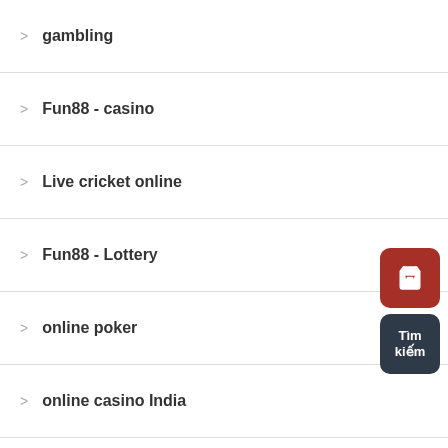gambling
Fun88 - casino
Live cricket online
Fun88 - Lottery
online poker
online casino India
ipl betting
Roulette